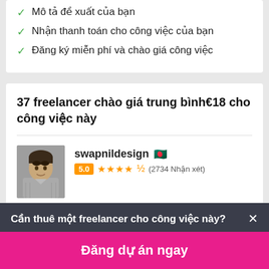Mô tả đề xuất của bạn
Nhận thanh toán cho công việc của bạn
Đăng ký miễn phí và chào giá công việc
37 freelancer chào giá trung bình€18 cho công việc này
[Figure (photo): Profile photo of freelancer swapnildesign, a man in a grey sweater]
swapnildesign 🇧🇩
5.0 ★★★★★ (2734 Nhận xét)
Cần thuê một freelancer cho công việc này? ×
Đăng dự án ngay